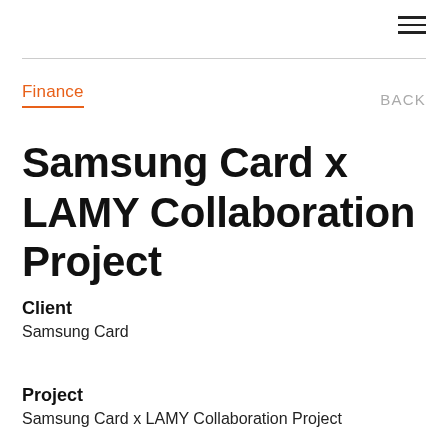≡
Finance
BACK
Samsung Card x LAMY Collaboration Project
Client
Samsung Card
Project
Samsung Card x LAMY Collaboration Project